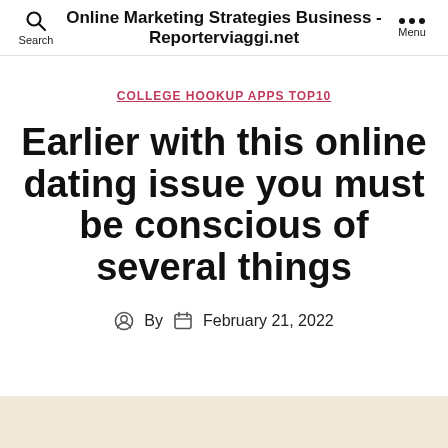Online Marketing Strategies Business - Reporterviaggi.net
COLLEGE HOOKUP APPS TOP10
Earlier with this online dating issue you must be conscious of several things
By  February 21, 2022